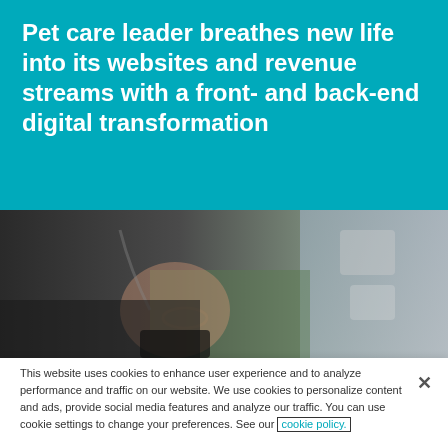Pet care leader breathes new life into its websites and revenue streams with a front- and back-end digital transformation
[Figure (photo): A person wearing glasses and headphones looking down at a smartphone, photographed from above at an angle. Background is blurred with green and grey tones.]
This website uses cookies to enhance user experience and to analyze performance and traffic on our website. We use cookies to personalize content and ads, provide social media features and analyze our traffic. You can use cookie settings to change your preferences. See our cookie policy.